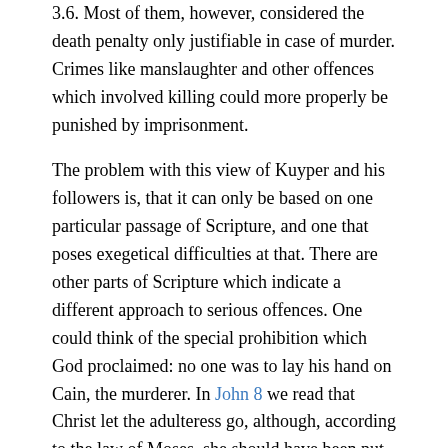3.6. Most of them, however, considered the death penalty only justifiable in case of murder. Crimes like manslaughter and other offences which involved killing could more properly be punished by imprisonment.
The problem with this view of Kuyper and his followers is, that it can only be based on one particular passage of Scripture, and one that poses exegetical difficulties at that. There are other parts of Scripture which indicate a different approach to serious offences. One could think of the special prohibition which God proclaimed: no one was to lay his hand on Cain, the murderer. In John 8 we read that Christ let the adulteress go, although, according to the law of Moses, she should have been put to death. The conclusion is inescapable that the Bible does not command the automatic institution of the death penalty. To punish by death is indeed in harmony with the rules of the Bible, but if a government refuses to do so, it cannot be said that that per se violates God's law.
The reinstatement of capital punishment can thus be a proper part of the political program of a Christian party. Whether or not we must plead for capital punishment depends on the circumstances. A